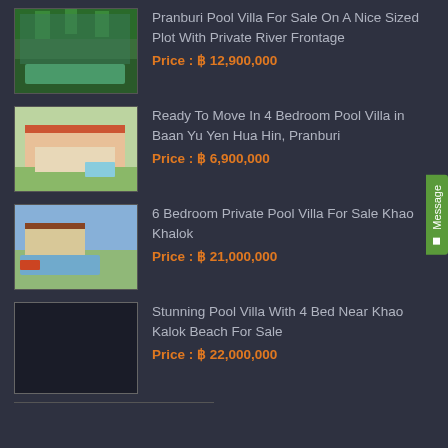[Figure (photo): Aerial view of pool villa with palm trees and green pool with private river frontage]
Pranburi Pool Villa For Sale On A Nice Sized Plot With Private River Frontage
Price : ฿ 12,900,000
[Figure (photo): Exterior of red-roofed pool villa with green lawn in Baan Yu Yen Hua Hin, Pranburi]
Ready To Move In 4 Bedroom Pool Villa in Baan Yu Yen Hua Hin, Pranburi
Price : ฿ 6,900,000
[Figure (photo): Pool villa with tiled pool and outdoor furniture at Khao Khalok]
6 Bedroom Private Pool Villa For Sale Khao Khalok
Price : ฿ 21,000,000
[Figure (photo): Dark placeholder image for pool villa near Khao Kalok Beach]
Stunning Pool Villa With 4 Bed Near Khao Kalok Beach For Sale
Price : ฿ 22,000,000